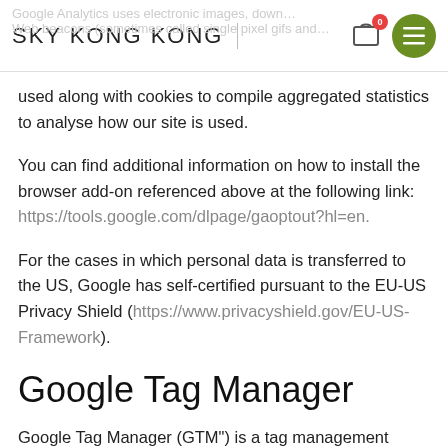SKY KONG KONG
used along with cookies to compile aggregated statistics to analyse how our site is used.
You can find additional information on how to install the browser add-on referenced above at the following link: https://tools.google.com/dlpage/gaoptout?hl=en.
For the cases in which personal data is transferred to the US, Google has self-certified pursuant to the EU-US Privacy Shield (https://www.privacyshield.gov/EU-US-Framework).
Google Tag Manager
Google Tag Manager (GTM™) is a tag management system to manage JavaScript and HTML tags used for tracking and analytics on websites. Tags are small code elements that,